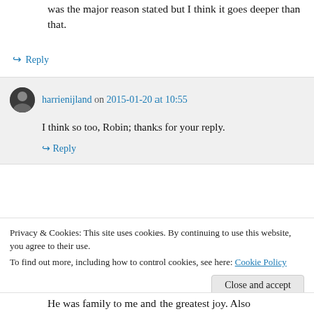was the major reason stated but I think it goes deeper than that.
↳ Reply
harrienijland on 2015-01-20 at 10:55
I think so too, Robin; thanks for your reply.
↳ Reply
Privacy & Cookies: This site uses cookies. By continuing to use this website, you agree to their use.
To find out more, including how to control cookies, see here: Cookie Policy
Close and accept
He was family to me and the greatest joy. Also